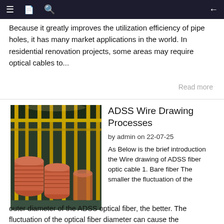Navigation bar with menu, document, search icons and back arrow
Because it greatly improves the utilization efficiency of pipe holes, it has many market applications in the world. In residential renovation projects, some areas may require optical cables to...
Read more
[Figure (photo): Industrial wire drawing facility with large copper wire coils on yellow frames inside a factory]
ADSS Wire Drawing Processes
by admin on 22-07-25
As Below is the brief introduction the Wire drawing of ADSS fiber optic cable 1. Bare fiber The smaller the fluctuation of the outer diameter of the ADSS optical fiber, the better. The fluctuation of the optical fiber diameter can cause the backscattering power loss and the fiber splicing loss o...